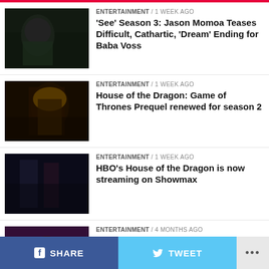ENTERTAINMENT / 1 week ago
'See' Season 3: Jason Momoa Teases Difficult, Cathartic, ‘Dream’ Ending for Baba Voss
ENTERTAINMENT / 1 week ago
House of the Dragon: Game of Thrones Prequel renewed for season 2
ENTERTAINMENT / 1 week ago
HBO’s House of the Dragon is now streaming on Showmax
ENTERTAINMENT / 4 months ago
MOVIE REVIEW: ‘The Man of God’ is a Hurriedly-Shot Film That Fails to Deliver on its Premise
ENTERTAINMENT / 5 months ago
SHARE  TWEET  ...